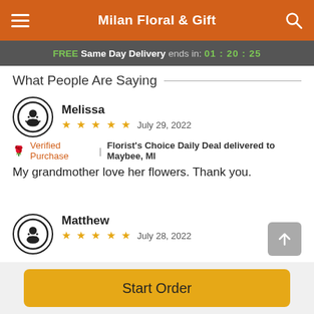Milan Floral & Gift
FREE Same Day Delivery ends in: 01:20:25
What People Are Saying
Melissa
★★★★★ July 29, 2022
🌹 Verified Purchase | Florist's Choice Daily Deal delivered to Maybee, MI
My grandmother love her flowers. Thank you.
Matthew
★★★★★ July 28, 2022
Start Order